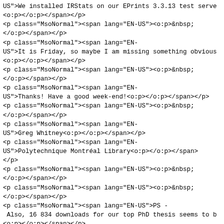US">We installed IRStats on our EPrints 3.3.13 test serve
<o:p></o:p></span></p>
<p class="MsoNormal"><span lang="EN-US"><o:p>&nbsp;
</o:p></span></p>
<p class="MsoNormal"><span lang="EN-
US">It is Friday, so maybe I am missing something obvious
<o:p></o:p></span></p>
<p class="MsoNormal"><span lang="EN-US"><o:p>&nbsp;
</o:p></span></p>
<p class="MsoNormal"><span lang="EN-
US">Thanks! Have a good week-end!<o:p></o:p></span></p>
<p class="MsoNormal"><span lang="EN-US"><o:p>&nbsp;
</o:p></span></p>
<p class="MsoNormal"><span lang="EN-
US">Greg Whitney<o:p></o:p></span></p>
<p class="MsoNormal"><span lang="EN-
US">Polytechnique Montréal Library<o:p></o:p></span>
</p>
<p class="MsoNormal"><span lang="EN-US"><o:p>&nbsp;
</o:p></span></p>
<p class="MsoNormal"><span lang="EN-US"><o:p>&nbsp;
</o:p></span></p>
<p class="MsoNormal"><span lang="EN-US">PS -
 Also, 16 834 downloads for our top PhD thesis seems to b
<o:p></o:p></span></p>
<p class="MsoNormal"><span lang="EN-US"><o:p>&nbsp;
</o:p></span></p>
<p class="MsoNormal"><span lang="EN-US"><o:p>&nbsp;
</o:p></span></p>
</div>